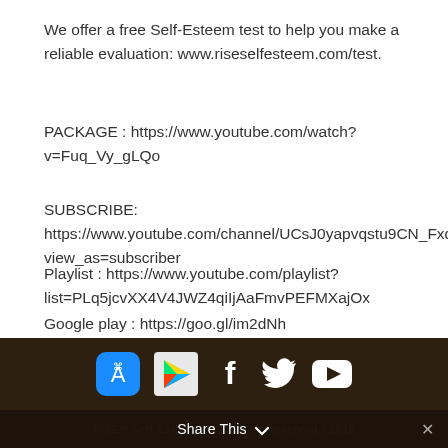We offer a free Self-Esteem test to help you make a reliable evaluation: www.riseselfesteem.com/test.
PACKAGE : https://www.youtube.com/watch?v=Fuq_Vy_gLQo
SUBSCRIBE:
https://www.youtube.com/channel/UCsJ0yapvqstu9CN_FxdMV
view_as=subscriber
Playlist : https://www.youtube.com/playlist?list=PLq5jcvXX4V4JWZ4qiIjAaFmvPEFMXajOx
Google play : https://goo.gl/im2dNh
[Figure (infographic): Dark brown footer bar with social media icons: App Store, Google Play, Facebook, Twitter, YouTube]
RISE® Self-Esteem - All Rights Reserved ©2016